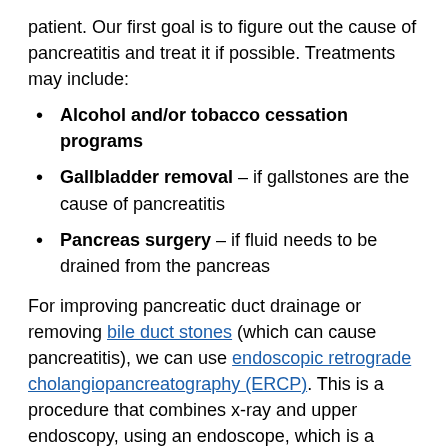patient. Our first goal is to figure out the cause of pancreatitis and treat it if possible. Treatments may include:
Alcohol and/or tobacco cessation programs
Gallbladder removal – if gallstones are the cause of pancreatitis
Pancreas surgery – if fluid needs to be drained from the pancreas
For improving pancreatic duct drainage or removing bile duct stones (which can cause pancreatitis), we can use endoscopic retrograde cholangiopancreatography (ERCP). This is a procedure that combines x-ray and upper endoscopy, using an endoscope, which is a lighted, flexible tube, about the thickness of a finger. The doctor passes the tube through the mouth and into the duodenum, identifies the small opening to the bile and pancreatic ducts, then places a wire or injects contrast dye into the ducts to view them better, which can also...